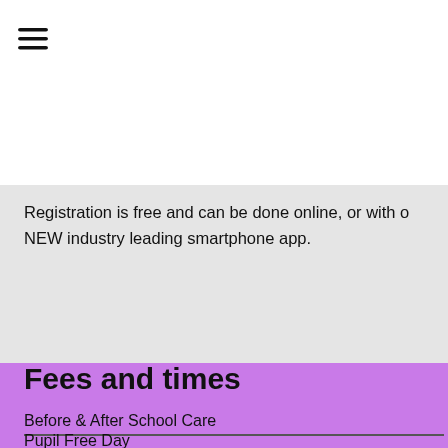[Figure (logo): CareApp logo — a stylized elephant/camera icon in black and teal/green]
[Figure (other): Register now button with FREE badge, teal/mint green background, black border and rounded corners]
Registration is free and can be done online, or with o NEW industry leading smartphone app.
[Figure (other): Zigzag decorative border transitioning from grey to purple background]
Fees and times
Before & After School Care
Pupil Free Day